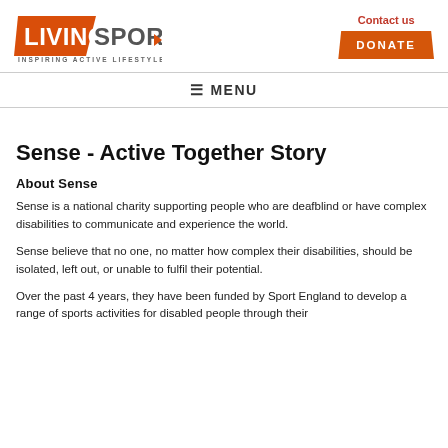[Figure (logo): Living Sport logo with tagline 'Inspiring Active Lifestyles']
Contact us
DONATE
≡ MENU
Sense - Active Together Story
About Sense
Sense is a national charity supporting people who are deafblind or have complex disabilities to communicate and experience the world.
Sense believe that no one, no matter how complex their disabilities, should be isolated, left out, or unable to fulfil their potential.
Over the past 4 years, they have been funded by Sport England to develop a range of sports activities for disabled people through their